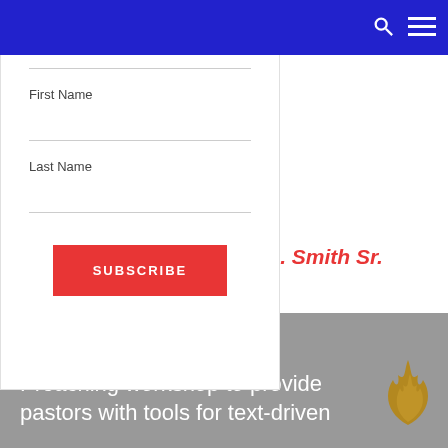Email Address *
First Name
Last Name
SUBSCRIBE
A. Smith Sr.
Preaching workshop to provide pastors with tools for text-driven